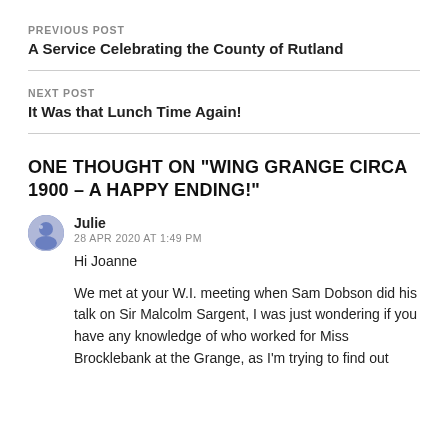PREVIOUS POST
A Service Celebrating the County of Rutland
NEXT POST
It Was that Lunch Time Again!
ONE THOUGHT ON “WING GRANGE CIRCA 1900 – A HAPPY ENDING!”
Julie
28 APR 2020 AT 1:49 PM
Hi Joanne
We met at your W.I. meeting when Sam Dobson did his talk on Sir Malcolm Sargent, I was just wondering if you have any knowledge of who worked for Miss Brocklebank at the Grange, as I’m trying to find out